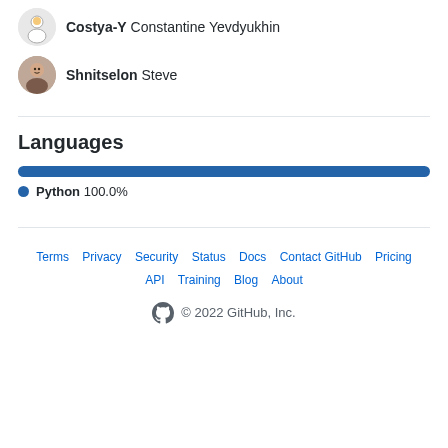Costya-Y Constantine Yevdyukhin
Shnitselon Steve
Languages
[Figure (bar-chart): Languages]
Python 100.0%
Terms · Privacy · Security · Status · Docs · Contact GitHub · Pricing · API · Training · Blog · About · © 2022 GitHub, Inc.